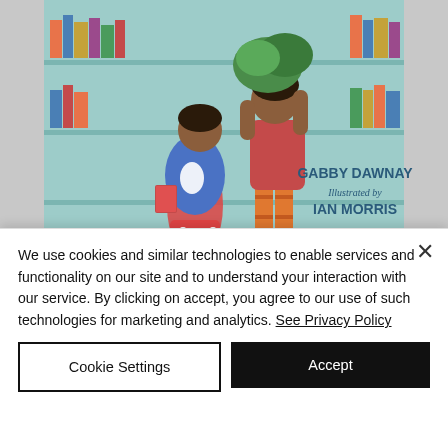[Figure (illustration): Book cover of 'The Library Book' by Gabby Dawnay, illustrated by Ian Morris, published by Thames & Hudson. Shows illustrated children figures against a teal/library background with bookshelves.]
Finally - for this week at least! - we come to the last book of our three, The Library Book. How can this one possibly be bad?! I hear you asking. Well, maybe it isn't, maybe I just included it to trick you... or
We use cookies and similar technologies to enable services and functionality on our site and to understand your interaction with our service. By clicking on accept, you agree to our use of such technologies for marketing and analytics. See Privacy Policy
Cookie Settings
Accept